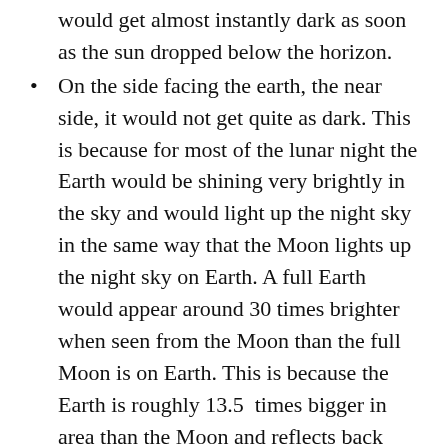would get almost instantly dark as soon as the sun dropped below the horizon.
On the side facing the earth, the near side, it would not get quite as dark. This is because for most of the lunar night the Earth would be shining very brightly in the sky and would light up the night sky in the same way that the Moon lights up the night sky on Earth. A full Earth would appear around 30 times brighter when seen from the Moon than the full Moon is on Earth. This is because the Earth is roughly 13.5  times bigger in area than the Moon and reflects back into space roughly 30% of the light which hits it, whereas the Moon is made made of quite dark material which only reflects back into space 14% of